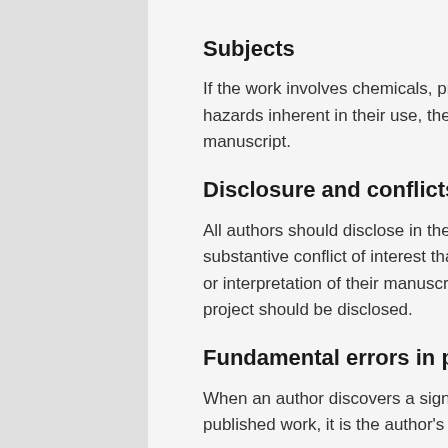Subjects
If the work involves chemicals, procedures or equipment that have any unusual hazards inherent in their use, the author must clearly identify these in the manuscript.
Disclosure and conflicts of interest
All authors should disclose in their manuscript any financial or other substantive conflict of interest that might be construed to influence the results or interpretation of their manuscript. All sources of financial support for the project should be disclosed.
Fundamental errors in published works
When an author discovers a significant error or inaccuracy in their own published work, it is the author's obligation to promptly notify the corresponding publisher.